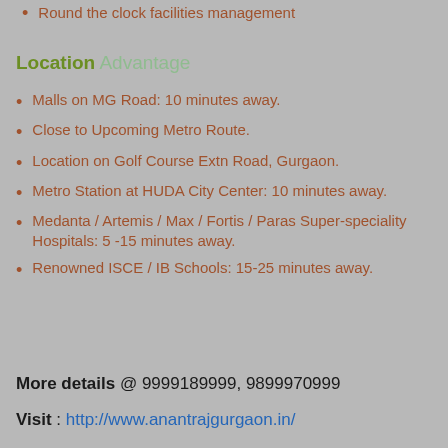Round the clock facilities management
Location Advantage
Malls on MG Road: 10 minutes away.
Close to Upcoming Metro Route.
Location on Golf Course Extn Road, Gurgaon.
Metro Station at HUDA City Center: 10 minutes away.
Medanta / Artemis / Max / Fortis / Paras Super-speciality Hospitals: 5 -15 minutes away.
Renowned ISCE / IB Schools: 15-25 minutes away.
More details @ 9999189999, 9899970999
Visit : http://www.anantrajgurgaon.in/